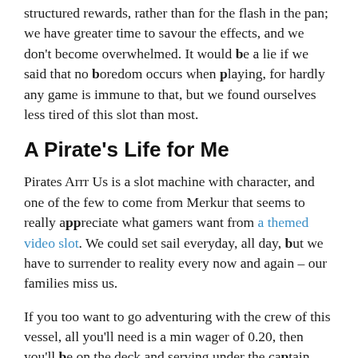structured rewards, rather than for the flash in the pan; we have greater time to savour the effects, and we don't become overwhelmed. It would be a lie if we said that no boredom occurs when playing, for hardly any game is immune to that, but we found ourselves less tired of this slot than most.
A Pirate's Life for Me
Pirates Arrr Us is a slot machine with character, and one of the few to come from Merkur that seems to really appreciate what gamers want from a themed video slot. We could set sail everyday, all day, but we have to surrender to reality every now and again – our families miss us.
If you too want to go adventuring with the crew of this vessel, all you'll need is a min wager of 0.20, then you'll be on the deck and serving under the captain before you know it. We're off on another island tour – maybe we'll see you on our way back home  ?